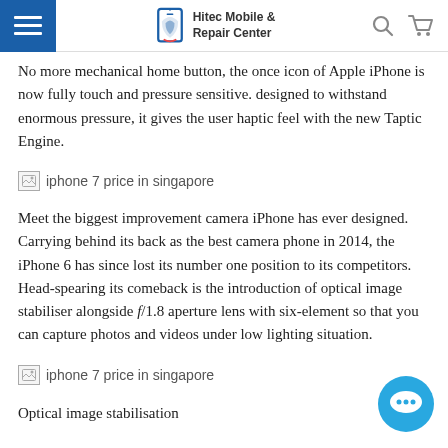Hitec Mobile & Repair Center
No more mechanical home button, the once icon of Apple iPhone is now fully touch and pressure sensitive. designed to withstand enormous pressure, it gives the user haptic feel with the new Taptic Engine.
[Figure (illustration): Broken image placeholder labeled 'iphone 7 price in singapore']
Meet the biggest improvement camera iPhone has ever designed. Carrying behind its back as the best camera phone in 2014, the iPhone 6 has since lost its number one position to its competitors. Head-spearing its comeback is the introduction of optical image stabiliser alongside f/1.8 aperture lens with six-element so that you can capture photos and videos under low lighting situation.
[Figure (illustration): Broken image placeholder labeled 'iphone 7 price in singapore']
Optical image stabilisation